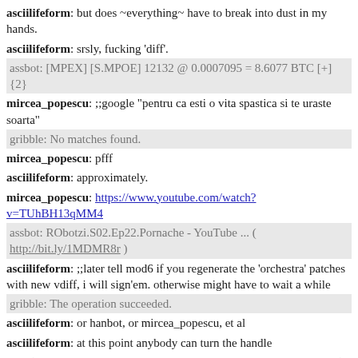asciilifeform: but does ~everything~ have to break into dust in my hands.
asciilifeform: srsly, fucking 'diff'.
assbot: [MPEX] [S.MPOE] 12132 @ 0.0007095 = 8.6077 BTC [+] {2}
mircea_popescu: ;;google "pentru ca esti o vita spastica si te uraste soarta"
gribble: No matches found.
mircea_popescu: pfff
asciilifeform: approximately.
mircea_popescu: https://www.youtube.com/watch?v=TUhBH13qMM4
assbot: RObotzi.S02.Ep22.Pornache - YouTube ... ( http://bit.ly/1MDMR8r )
asciilifeform: ;;later tell mod6 if you regenerate the 'orchestra' patches with new vdiff, i will sign'em. otherwise might have to wait a while
gribble: The operation succeeded.
asciilifeform: or hanbot, or mircea_popescu, et al
asciilifeform: at this point anybody can turn the handle
phf: (so it's not compare. they run a digest on payload while reading (or separately if detached), then they run digest on own reconstruction of header, then they finalize the digest and do sig verification of provided signature against the digest that they calculated)